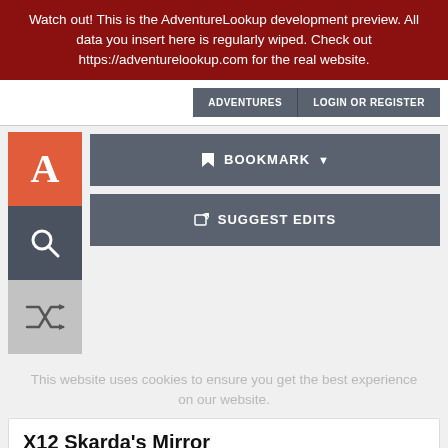Watch out! This is the AdventureLookup development preview. All data you insert here is regularly wiped. Check out https://adventurelookup.com for the real website.
ADVENTURES  LOGIN OR REGISTER
[Figure (screenshot): Left sidebar with three icon boxes: orange box with letter A, dark gray box with magnifying glass icon, light gray box with shuffle/random icon]
BOOKMARK ▼
SUGGEST EDITS
This website uses cookies to ensure you get the best experience on our website.
X12 Skarda's Mirror
BECMI  LEVELS 5-8  48 PAGES